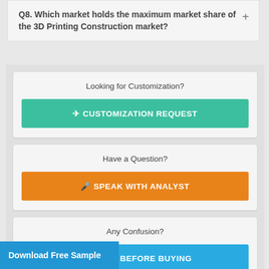Q8. Which market holds the maximum market share of the 3D Printing Construction market?
Looking for Customization?
✈ CUSTOMIZATION REQUEST
Have a Question?
🎤 SPEAK WITH ANALYST
Any Confusion?
ENQUIRE BEFORE BUYING
Download Free Sample